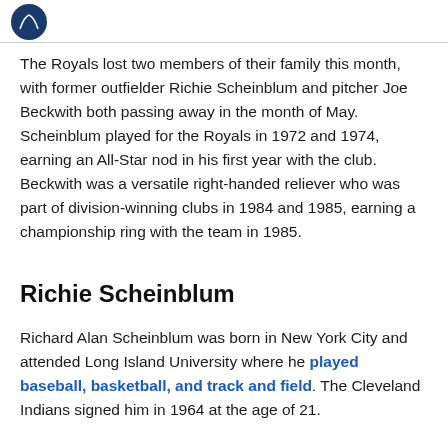[Figure (logo): Circular dark blue logo/icon in upper left corner]
The Royals lost two members of their family this month, with former outfielder Richie Scheinblum and pitcher Joe Beckwith both passing away in the month of May. Scheinblum played for the Royals in 1972 and 1974, earning an All-Star nod in his first year with the club. Beckwith was a versatile right-handed reliever who was part of division-winning clubs in 1984 and 1985, earning a championship ring with the team in 1985.
Richie Scheinblum
Richard Alan Scheinblum was born in New York City and attended Long Island University where he played baseball, basketball, and track and field. The Cleveland Indians signed him in 1964 at the age of 21.